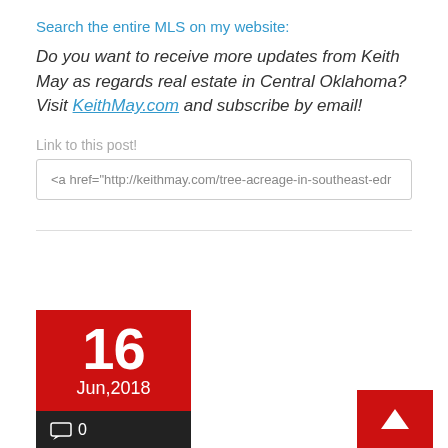Search the entire MLS on my website:
Do you want to receive more updates from Keith May as regards real estate in Central Oklahoma? Visit KeithMay.com and subscribe by email!
Link to this post!
<a href="http://keithmay.com/tree-acreage-in-southeast-edr
16 Jun,2018
0